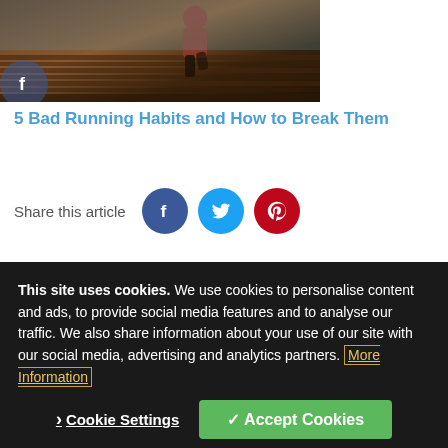[Figure (photo): Running person on wooden deck/boardwalk, outdoor fitness photo]
5 Bad Running Habits and How to Break Them
Share this article
Discuss This Article
This site uses cookies. We use cookies to personalise content and ads, to provide social media features and to analyse our traffic. We also share information about your use of our site with our social media, advertising and analytics partners. More Information
Cookie Settings
✓ Accept Cookies